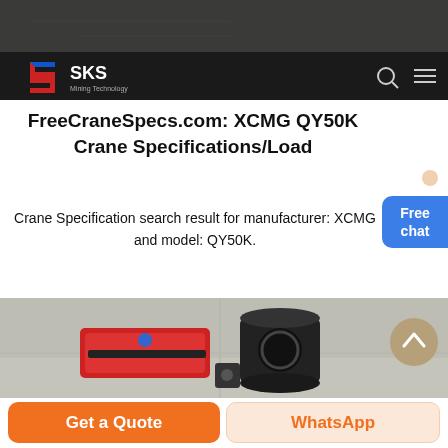SKS Mining Technology
FreeCraneSpecs.com: XCMG QY50K Crane Specifications/Load
Crane Specification search result for manufacturer: XCMG and model: QY50K.
[Figure (photo): Red and black industrial machinery/equipment on a concrete surface]
Get a Quote
WhatsApp